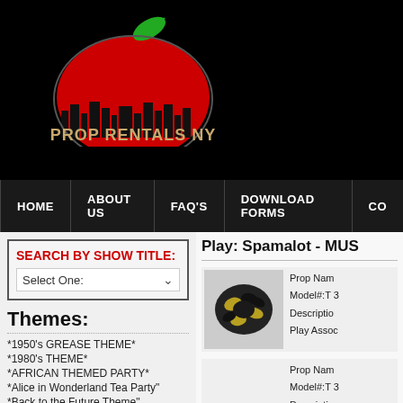[Figure (logo): Prop Rentals NY logo — red apple with green leaf and city skyline silhouette, text 'PROP RENTALS NY A Division of Avancy Inc' on black background]
HOME   ABOUT US   FAQ'S   DOWNLOAD FORMS   CO...
SEARCH BY SHOW TITLE:
Select One:
Themes:
*1950's GREASE THEME*
*1980's THEME*
*AFRICAN THEMED PARTY*
*Alice in Wonderland Tea Party"
*Back to the Future Theme"
*BEACH THEME*
*Biblical Themed Party*
*CAR THEMED PARTY*
Play: Spamalot - MUS...
[Figure (photo): Close-up photo of prop item — decorative fish-shaped or heraldic metal pieces, black and gold coloring]
Prop Name:
Model#:T 3
Description:
Play Assoc...
Prop Name:
Model#:T 3
Description:
Play Assoc...